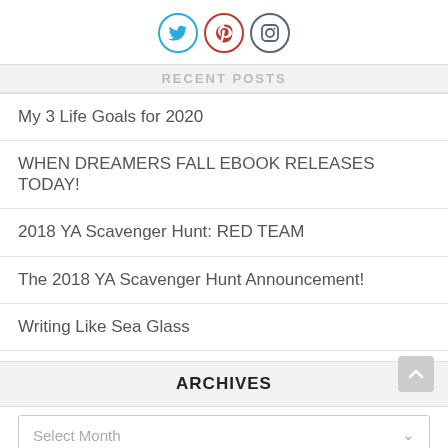[Figure (other): Three social media icon circles: Twitter (blue), Pinterest (red), Instagram (gray)]
RECENT POSTS
My 3 Life Goals for 2020
WHEN DREAMERS FALL EBOOK RELEASES TODAY!
2018 YA Scavenger Hunt: RED TEAM
The 2018 YA Scavenger Hunt Announcement!
Writing Like Sea Glass
ARCHIVES
Select Month